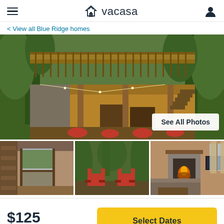vacasa
< View all Blue Ridge homes
[Figure (photo): Main photo of a log cabin with two-level deck/porch surrounded by trees, string lights visible, red chairs on lower patio, firewood stacked. Overlay button 'See All Photos'.]
[Figure (photo): Thumbnail: Screened porch of log cabin with view through glass door]
[Figure (photo): Thumbnail: Red Adirondack chairs around a fire pit in the woods]
[Figure (photo): Thumbnail: Interior of cabin with stone fireplace and living room furniture]
$125
avg / night
Select Dates